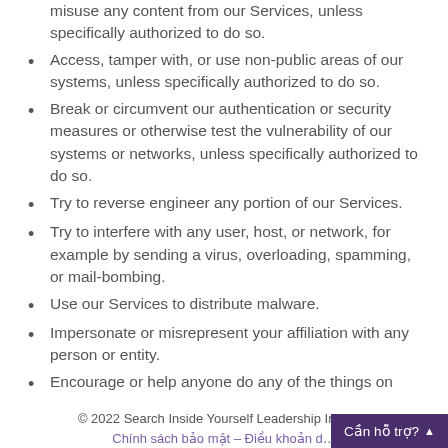misuse any content from our Services, unless specifically authorized to do so.
Access, tamper with, or use non-public areas of our systems, unless specifically authorized to do so.
Break or circumvent our authentication or security measures or otherwise test the vulnerability of our systems or networks, unless specifically authorized to do so.
Try to reverse engineer any portion of our Services.
Try to interfere with any user, host, or network, for example by sending a virus, overloading, spamming, or mail-bombing.
Use our Services to distribute malware.
Impersonate or misrepresent your affiliation with any person or entity.
Encourage or help anyone do any of the things on this list.
© 2022 Search Inside Yourself Leadership Institute
Chính sách bảo mật – Điều khoản d…